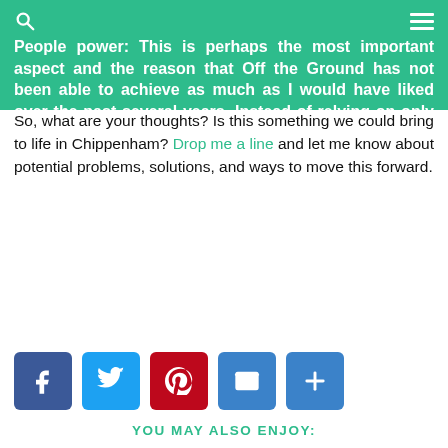People power: This is perhaps the most important aspect and the reason that Off the Ground has not been able to achieve as much as I would have liked over the past several years. Instead of relying on only a few people to organise everything, a project of this scale needs many people willing to pitch in a bit of time each step of the way.
So, what are your thoughts? Is this something we could bring to life in Chippenham? Drop me a line and let me know about potential problems, solutions, and ways to move this forward.
[Figure (infographic): Social sharing buttons: Facebook (blue), Twitter (blue), Pinterest (red), Email (blue), Share/More (blue)]
YOU MAY ALSO ENJOY: